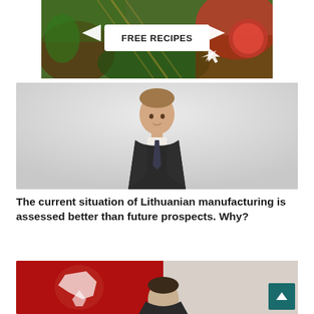[Figure (photo): Advertisement banner with food ingredients background (tomatoes, pasta, olive oil, herbs, garlic, spices) with white arrows pointing left and right, and a white box in the center with bold text FREE RECIPES and a cursor arrow icon below]
[Figure (photo): Photo of a young man in a dark suit and tie, smiling slightly, against a light gray background, slightly blurred]
The current situation of Lithuanian manufacturing is assessed better than future prospects. Why?
[Figure (photo): Partially visible photo of a man in front of a Lithuanian flag (red background with white knight emblem), with a teal scroll-to-top button in the bottom right corner]